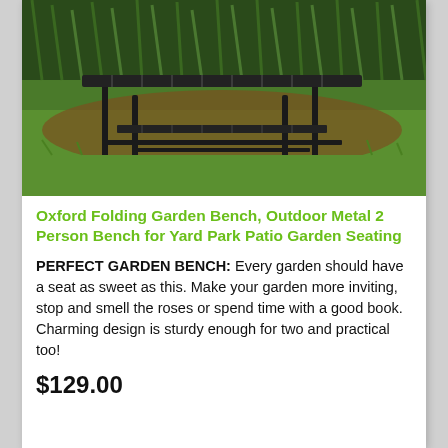[Figure (photo): A metal garden bench with slatted seat on green grass with plants in the background]
Oxford Folding Garden Bench, Outdoor Metal 2 Person Bench for Yard Park Patio Garden Seating
PERFECT GARDEN BENCH: Every garden should have a seat as sweet as this. Make your garden more inviting, stop and smell the roses or spend time with a good book. Charming design is sturdy enough for two and practical too!
$129.00